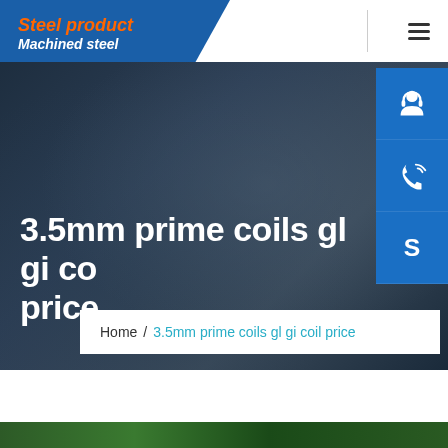Steel product / Machined steel
[Figure (screenshot): Navigation hamburger menu icon (three horizontal lines)]
[Figure (other): Sidebar icons: customer service headset, phone/call, Skype on blue background]
3.5mm prime coils gl gi coil price
Home / 3.5mm prime coils gl gi coil price
[Figure (photo): Bottom strip showing green steel coils or industrial material]